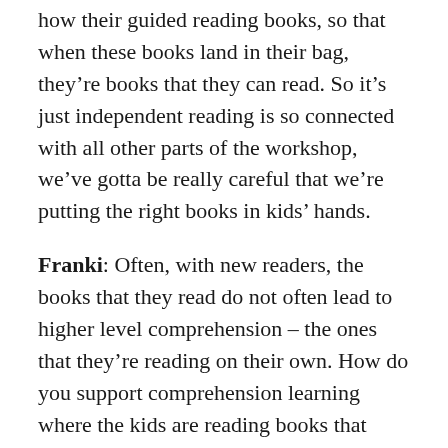how their guided reading books, so that when these books land in their bag, they're books that they can read. So it's just independent reading is so connected with all other parts of the workshop, we've gotta be really careful that we're putting the right books in kids' hands.
Franki: Often, with new readers, the books that they read do not often lead to higher level comprehension – the ones that they're reading on their own. How do you support comprehension learning where the kids are reading books that have simpler text?
Sharon: Well, I think that, basically this is